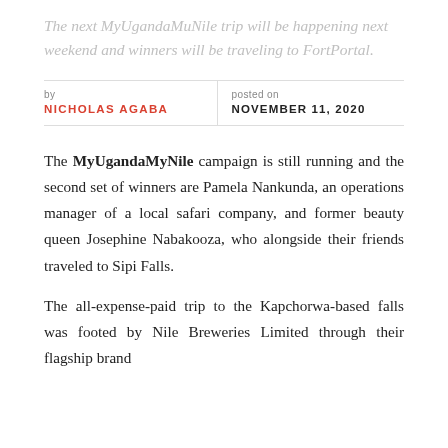The next MyUgandaMuNile trip will be happening next weekend and winners will be traveling to FortPortal.
by
NICHOLAS AGABA
posted on
NOVEMBER 11, 2020
The MyUgandaMyNile campaign is still running and the second set of winners are Pamela Nankunda, an operations manager of a local safari company, and former beauty queen Josephine Nabakooza, who alongside their friends traveled to Sipi Falls.
The all-expense-paid trip to the Kapchorwa-based falls was footed by Nile Breweries Limited through their flagship brand